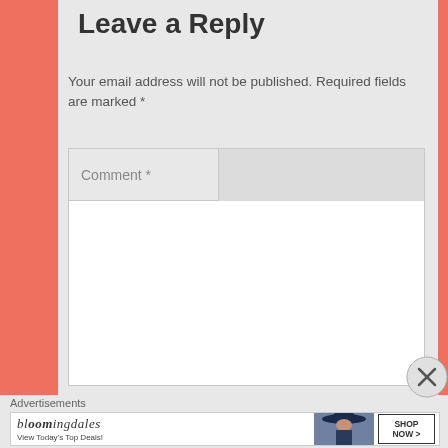Leave a Reply
Your email address will not be published. Required fields are marked *
Comment *
Advertisements
[Figure (other): Bloomingdales advertisement banner: bloomingdales logo, 'View Today's Top Deals!' tagline, woman in hat photo, SHOP NOW > button]